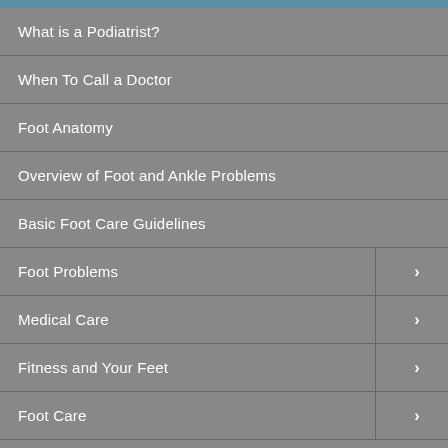What is a Podiatrist?
When To Call a Doctor
Foot Anatomy
Overview of Foot and Ankle Problems
Basic Foot Care Guidelines
Foot Problems >
Medical Care >
Fitness and Your Feet >
Foot Care >
Resources
Links